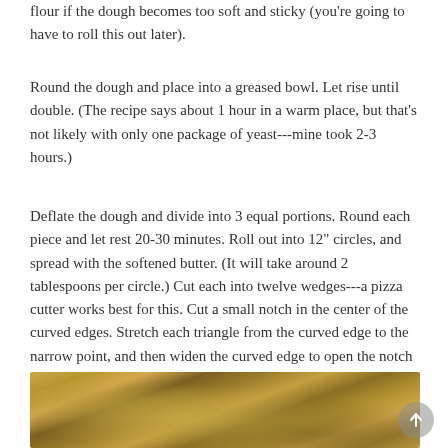flour if the dough becomes too soft and sticky (you're going to have to roll this out later).
Round the dough and place into a greased bowl. Let rise until double. (The recipe says about 1 hour in a warm place, but that's not likely with only one package of yeast---mine took 2-3 hours.)
Deflate the dough and divide into 3 equal portions. Round each piece and let rest 20-30 minutes. Roll out into 12" circles, and spread with the softened butter. (It will take around 2 tablespoons per circle.) Cut each into twelve wedges---a pizza cutter works best for this. Cut a small notch in the center of the curved edges. Stretch each triangle from the curved edge to the narrow point, and then widen the curved edge to open the notch by pulling out from the other two corners. Roll up, beginning from the notched edge. Place the rolls on lightly greased sheet pans, with the points tucked underneath, and curve into a crescent shape. Let rise until doubled. Bake at 400F for 14-20 minutes, until golden brown.
[Figure (photo): Close-up photograph of golden brown crescent rolls on a baking sheet, warm tones of yellow and brown.]